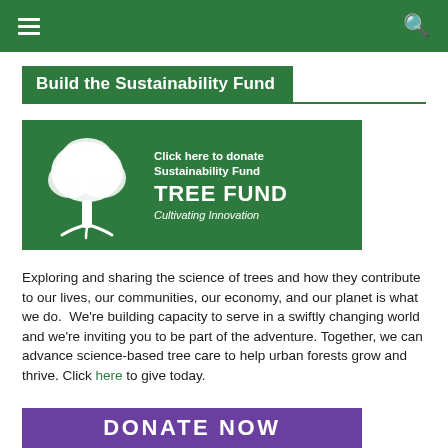Navigation bar with menu and search icons
Build the Sustainability Fund
[Figure (logo): Tree Fund banner — white illustrated tree on green background with text: Click here to donate / Sustainability Fund / TREE FUND / Cultivating Innovation]
Exploring and sharing the science of trees and how they contribute to our lives, our communities, our economy, and our planet is what we do. We're building capacity to serve in a swiftly changing world and we're inviting you to be part of the adventure. Together, we can advance science-based tree care to help urban forests grow and thrive. Click here to give today.
[Figure (other): Purple DONATE NOW button banner]